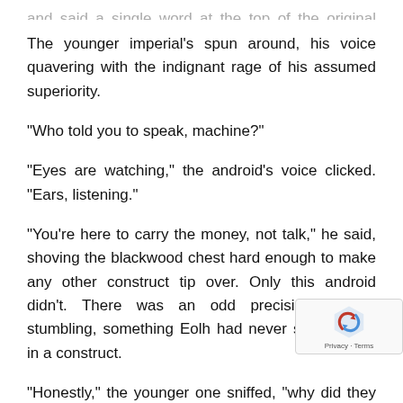The younger imperial's spun around, his voice quavering with the indignant rage of his assumed superiority.
“Who told you to speak, machine?”
“Eyes are watching,” the android’s voice clicked. “Ears, listening.”
“You’re here to carry the money, not talk,” he said, shoving the blackwood chest hard enough to make any other construct tip over. Only this android didn’t. There was an odd precision to her stumbling, something Eolh had never seen before in a construct.
“Honestly,” the younger one sniffed, “why did they send this thing with us? A portofex or drudge would’ve done the same job without the back talk.”
The older imperial shrugged and said a single word